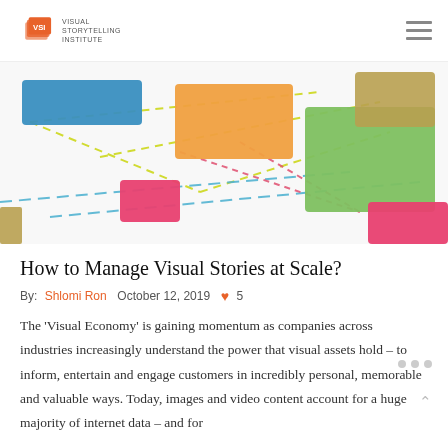VSI Visual Storytelling Institute
[Figure (illustration): Colorful connected sticky notes / post-its in blue, orange, green, pink, and gold/khaki, connected by dashed lines in blue, green, and red on a white background, representing a visual story map or content network diagram.]
How to Manage Visual Stories at Scale?
By: Shlomi Ron  October 12, 2019  ♥ 5
The 'Visual Economy' is gaining momentum as companies across industries increasingly understand the power that visual assets hold – to inform, entertain and engage customers in incredibly personal, memorable and valuable ways. Today, images and video content account for a huge majority of internet data – and for